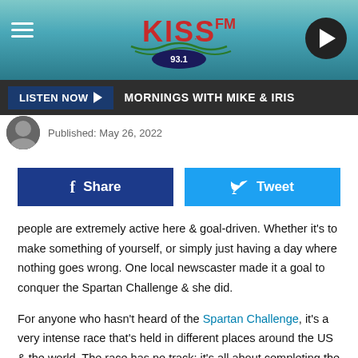[Figure (logo): KISS FM 93.1 radio station logo with teal gradient header background, hamburger menu icon on left, play button on right]
LISTEN NOW ▶   MORNINGS WITH MIKE & IRIS
Published: May 26, 2022
[Figure (infographic): Social sharing buttons: blue Facebook Share button and light blue Twitter Tweet button]
people are extremely active here & goal-driven. Whether it's to make something of yourself, or simply just having a day where nothing goes wrong. One local newscaster made it a goal to conquer the Spartan Challenge & she did.
For anyone who hasn't heard of the Spartan Challenge, it's a very intense race that's held in different places around the US & the world. The race has no track; it's all about completing the course in the wild overcoming many obstacles.